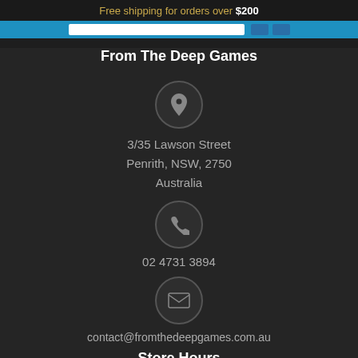Free shipping for orders over $200
From The Deep Games
3/35 Lawson Street
Penrith, NSW, 2750
Australia
02 4731 3894
contact@fromthedeepgames.com.au
Store Hours